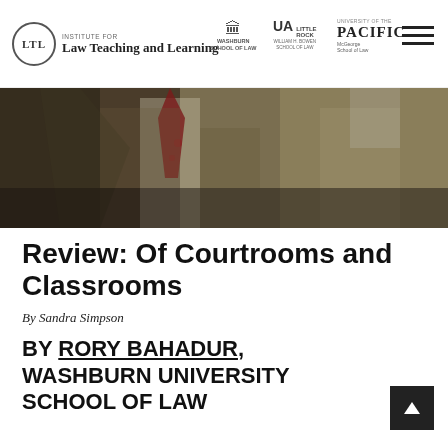[Figure (logo): Institute for Law Teaching and Learning logo with circle emblem and partner school logos (Washburn School of Law, UA Little Rock William H. Bowen School of Law, University of the Pacific McGeorge School of Law)]
[Figure (photo): Dark close-up photograph of people in suits and ties, likely courtroom or professional legal setting]
Review: Of Courtrooms and Classrooms
By Sandra Simpson
BY RORY BAHADUR, WASHBURN UNIVERSITY SCHOOL OF LAW